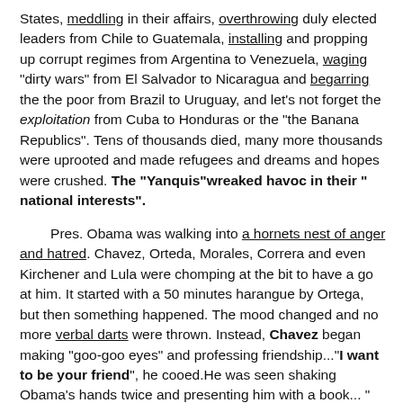States, meddling in their affairs, overthrowing duly elected leaders from Chile to Guatemala, installing and propping up corrupt regimes from Argentina to Venezuela, waging "dirty wars" from El Salvador to Nicaragua and begarring the the poor from Brazil to Uruguay, and let's not forget the exploitation from Cuba to Honduras or the "the Banana Republics". Tens of thousands died, many more thousands were uprooted and made refugees and dreams and hopes were crushed. The "Yanquis"wreaked havoc in their " national interests".
Pres. Obama was walking into a hornets nest of anger and hatred. Chavez, Orteda, Morales, Correra and even Kirchener and Lula were chomping at the bit to have a go at him. It started with a 50 minutes harangue by Ortega, but then something happened. The mood changed and no more verbal darts were thrown. Instead, Chavez began making "goo-goo eyes" and professing friendship..."I want to be your friend", he cooed.He was seen shaking Obama's hands twice and presenting him with a book... " Las Venas Abiertas de Latin America" (  The Open Veins of Latin America), by Uruguayan author Eduardo Galeano, about the colonial past and the exploitation of the region. It was signed " For Obama with affection". Obama